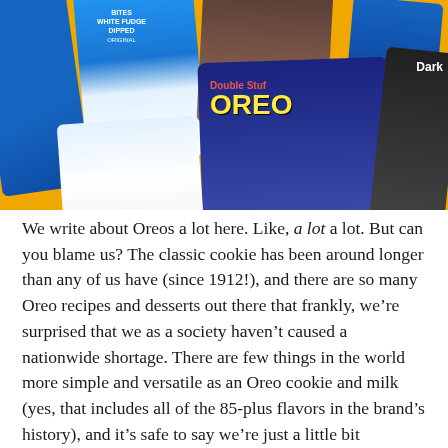[Figure (photo): Collage of various Oreo cookie packages on a yellow/orange background, including Double Stuf Oreo, White Fudge Dipped Bites, and Dark Oreo packages arranged at angles.]
We write about Oreos a lot here. Like, a lot a lot. But can you blame us? The classic cookie has been around longer than any of us have (since 1912!), and there are so many Oreo recipes and desserts out there that frankly, we're surprised that we as a society haven't caused a nationwide shortage. There are few things in the world more simple and versatile as an Oreo cookie and milk (yes, that includes all of the 85-plus flavors in the brand's history), and it's safe to say we're just a little bit obsessed. Case in point, this giant Oreo cake, these Oreo truffles, this Oreo popcorn, and this Oreo cookie skillet. You get the idea.